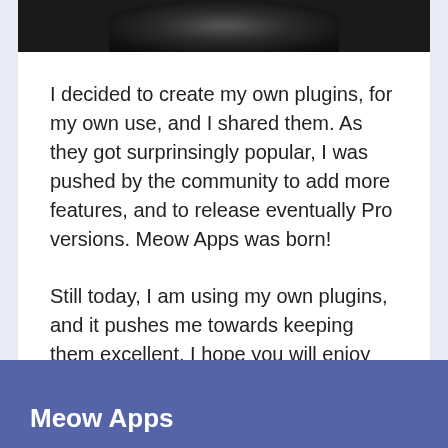[Figure (photo): Partially visible photo at the top of a white card, showing a dark image (appears to be an animal or person in a natural setting), only the bottom portion is visible.]
I decided to create my own plugins, for my own use, and I shared them. As they got surprinsingly popular, I was pushed by the community to add more features, and to release eventually Pro versions. Meow Apps was born!
Still today, I am using my own plugins, and it pushes me towards keeping them excellent. I hope you will enjoy those plugins as much as I do!
Meow Apps